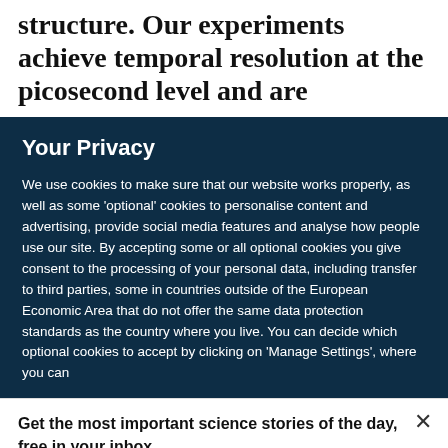structure. Our experiments achieve temporal resolution at the picosecond level and are
Your Privacy
We use cookies to make sure that our website works properly, as well as some ‘optional’ cookies to personalise content and advertising, provide social media features and analyse how people use our site. By accepting some or all optional cookies you give consent to the processing of your personal data, including transfer to third parties, some in countries outside of the European Economic Area that do not offer the same data protection standards as the country where you live. You can decide which optional cookies to accept by clicking on ‘Manage Settings’, where you can
Get the most important science stories of the day, free in your inbox.
Sign up for Nature Briefing